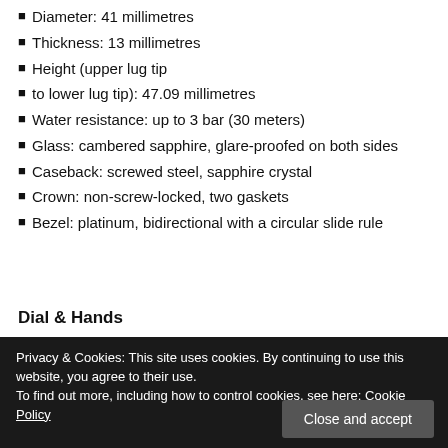Diameter: 41 millimetres
Thickness: 13 millimetres
Height (upper lug tip
to lower lug tip): 47.09 millimetres
Water resistance: up to 3 bar (30 meters)
Glass: cambered sapphire, glare-proofed on both sides
Caseback: screwed steel, sapphire crystal
Crown: non-screw-locked, two gaskets
Bezel: platinum, bidirectional with a circular slide rule
Dial & Hands
Privacy & Cookies: This site uses cookies. By continuing to use this website, you agree to their use.
To find out more, including how to control cookies, see here: Cookie Policy